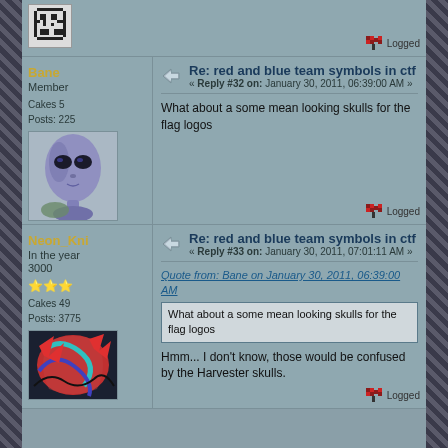[Figure (screenshot): Top portion of forum post with small avatar (QR code style) and Logged indicator]
Logged
Bane
Member
Cakes 5
Posts: 225
Re: red and blue team symbols in ctf
« Reply #32 on: January 30, 2011, 06:39:00 AM »
What about a some mean looking skulls for the flag logos
Logged
Neon_Kni
In the year 3000
Cakes 49
Posts: 3775
Re: red and blue team symbols in ctf
« Reply #33 on: January 30, 2011, 07:01:11 AM »
Quote from: Bane on January 30, 2011, 06:39:00 AM
What about a some mean looking skulls for the flag logos
Hmm... I don't know, those would be confused by the Harvester skulls.
Logged